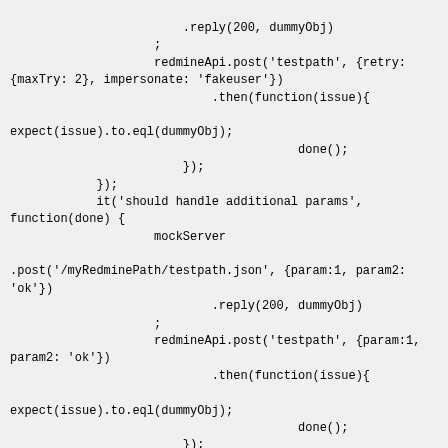.reply(200, dummyObj)
                    ;
                    redmineApi.post('testpath', {retry:
{maxTry: 2}, impersonate: 'fakeuser'})
                            .then(function(issue){

expect(issue).to.eql(dummyObj);
                                        done();
                        });
            });
            it('should handle additional params',
function(done) {
                    mockServer

.post('/myRedminePath/testpath.json', {param:1, param2:
'ok'})
                            .reply(200, dummyObj)
                    ;
                    redmineApi.post('testpath', {param:1,
param2: 'ok'})
                            .then(function(issue){

expect(issue).to.eql(dummyObj);
                                        done();
                        });
            });
});

describe('have a put method which', function(){
        it('should prepend "/" and append ".json" to
the given path', function(done) {
                    mockServer